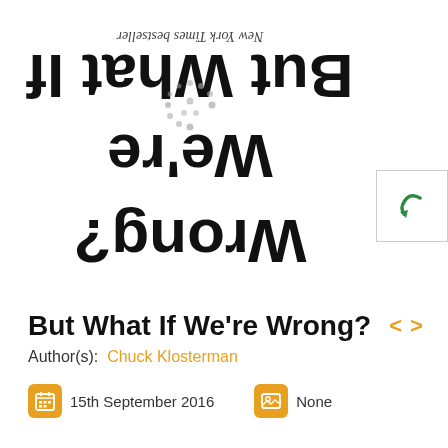[Figure (illustration): Book cover for 'But What If We're Wrong?' displayed upside-down (rotated 180 degrees), showing the title text inverted with a decorative circular dot pattern and 'New York Times bestseller' text also inverted. A return/undo arrow button appears to the right side.]
But What If We're Wrong?
Author(s): Chuck Klosterman
15th September 2016   None